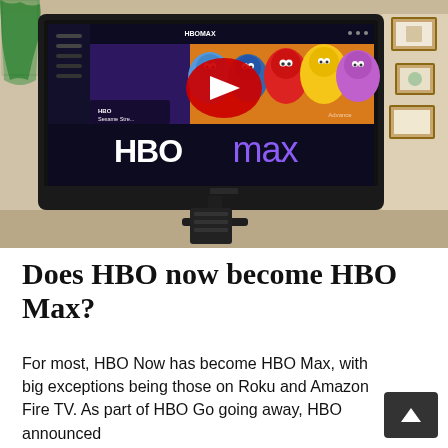[Figure (photo): A wall-mounted TV displaying the HBO Max streaming service interface with Sesame Street characters visible and the HBO Max logo. A YouTube play button overlay is visible on the screen. The TV is mounted on a beige/cream colored wall with curtains on the left and framed pictures on the right. A speaker sits below the TV.]
Does HBO now become HBO Max?
For most, HBO Now has become HBO Max, with big exceptions being those on Roku and Amazon Fire TV. As part of HBO Go going away, HBO announced